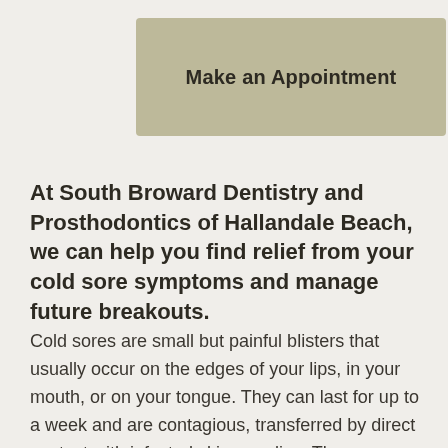[Figure (other): Button with tan/khaki background labeled 'Make an Appointment']
At South Broward Dentistry and Prosthodontics of Hallandale Beach, we can help you find relief from your cold sore symptoms and manage future breakouts.
Cold sores are small but painful blisters that usually occur on the edges of your lips, in your mouth, or on your tongue. They can last for up to a week and are contagious, transferred by direct contact with infected skin or saliva. The